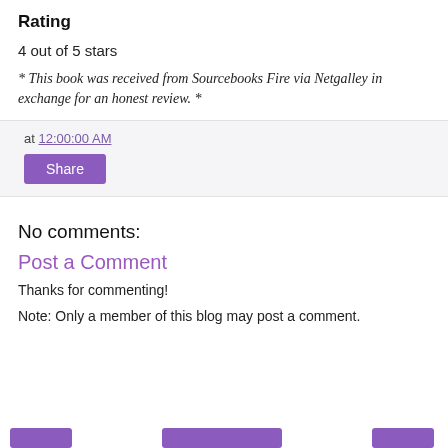Rating
4 out of 5 stars
* This book was received from Sourcebooks Fire via Netgalley in exchange for an honest review. *
at 12:00:00 AM
Share
No comments:
Post a Comment
Thanks for commenting!
Note: Only a member of this blog may post a comment.